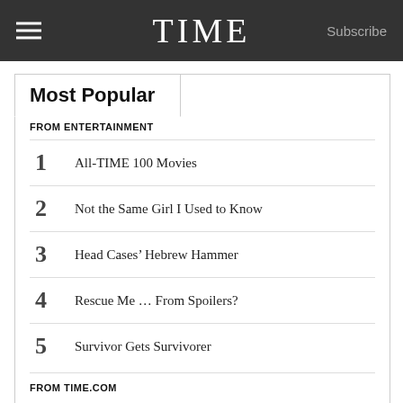TIME  Subscribe
Most Popular
FROM ENTERTAINMENT
1  All-TIME 100 Movies
2  Not the Same Girl I Used to Know
3  Head Cases’ Hebrew Hammer
4  Rescue Me … From Spoilers?
5  Survivor Gets Survivorer
FROM TIME.COM